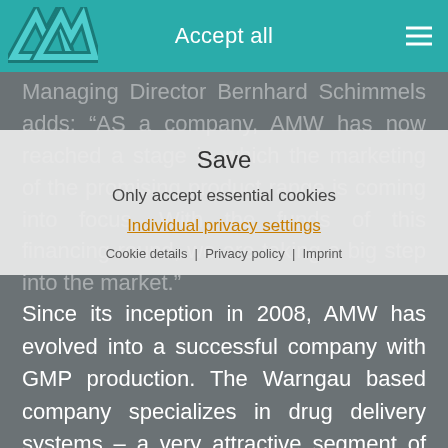Accept all
Managing Director Bernhard Schimmels adds: “AS a company, AMW has now reached a stage in which the marketing of the promising product range is coming into focus. With the funds of this financing round, we are taking a big step into the market.”
Save
Only accept essential cookies
Individual privacy settings
Cookie details | Privacy policy | Imprint
Since its inception in 2008, AMW has evolved into a successful company with GMP production. The Warngau based company specializes in drug delivery systems – a very attractive segment of the pharmaceutical market, which is